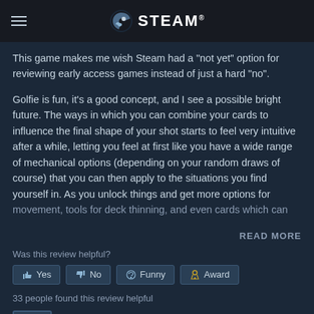STEAM®
This game makes me wish Steam had a "not yet" option for reviewing early access games instead of just a hard "no".
Golfie is fun, it's a good concept, and I see a possible bright future. The ways in which you can combine your cards to influence the final shape of your shot starts to feel very intuitive after a while, letting you feel at first like you have a wide range of mechanical options (depending on your random draws of course) that you can then apply to the situations you find yourself in. As you unlock things and get more options for movement, tools for deck thinning, and even cards which can
READ MORE
Was this review helpful?
Yes   No   Funny   Award
33 people found this review helpful
[Figure (illustration): Small pixel art avatar icon showing a character on dark blue background]